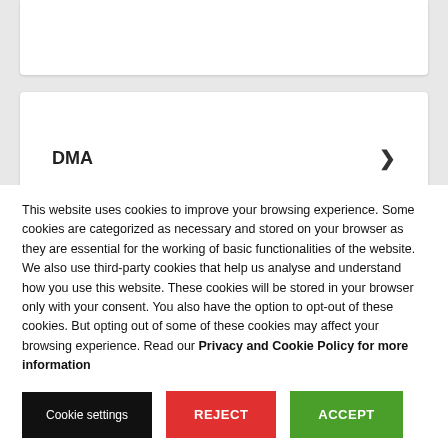DMA
Data Protection
This website uses cookies to improve your browsing experience. Some cookies are categorized as necessary and stored on your browser as they are essential for the working of basic functionalities of the website. We also use third-party cookies that help us analyse and understand how you use this website. These cookies will be stored in your browser only with your consent. You also have the option to opt-out of these cookies. But opting out of some of these cookies may affect your browsing experience. Read our Privacy and Cookie Policy for more information